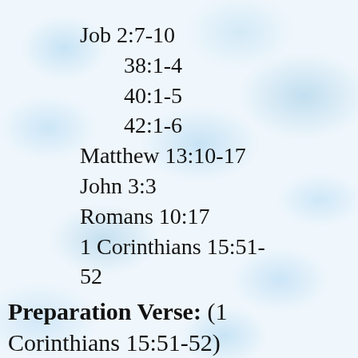Job 2:7-10
38:1-4
40:1-5
42:1-6
Matthew 13:10-17
John 3:3
Romans 10:17
1 Corinthians 15:51-52
Preparation Verse: (1 Corinthians 15:51-52)